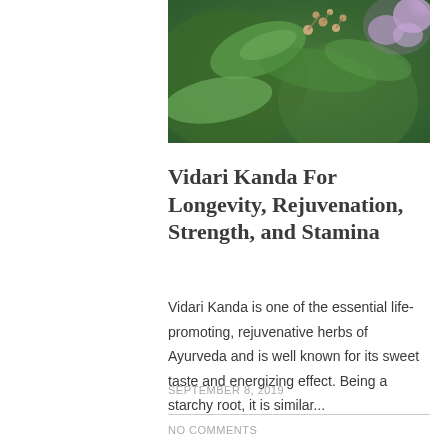[Figure (photo): Close-up photo of green plant leaves and buds with a purple flower visible in the upper right corner, appearing to be an Ayurvedic herb plant.]
Vidari Kanda For Longevity, Rejuvenation, Strength, and Stamina
Vidari Kanda is one of the essential life-promoting, rejuvenative herbs of Ayurveda and is well known for its sweet taste and energizing effect.  Being a starchy root, it is similar...
SEPTEMBER 8, 2019
NO COMMENTS